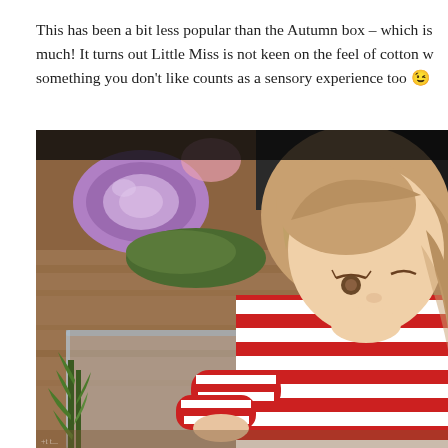This has been a bit less popular than the Autumn box – which is much! It turns out Little Miss is not keen on the feel of cotton w something you don't like counts as a sensory experience too 😉
[Figure (photo): A young toddler girl with light brown hair wearing a red and white striped long-sleeve shirt, leaning over a clear plastic bin. In the background there is a purple roll of material, a green item on a wooden floor.]